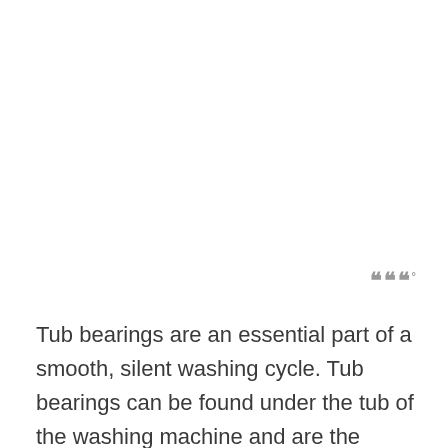ɯɯɯ°
Tub bearings are an essential part of a smooth, silent washing cycle. Tub bearings can be found under the tub of the washing machine and are the reason that the drum can spin freely inside the machine.